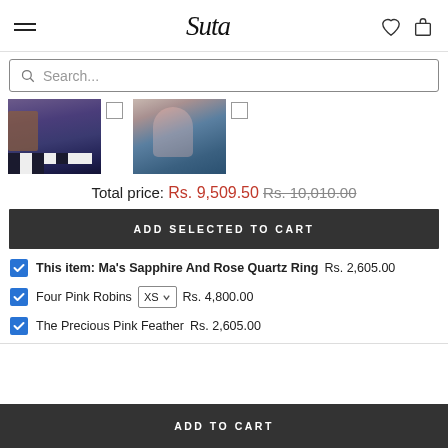Suta brand logo with hamburger menu, heart and bag icons
Search...
[Figure (photo): Two product photos showing blue sarees/garments worn by models]
Total price: Rs. 9,509.50 Rs. 10,010.00
ADD SELECTED TO CART
This item: Ma's Sapphire And Rose Quartz Ring  Rs. 2,605.00
Four Pink Robins  XS  Rs. 4,800.00
The Precious Pink Feather  Rs. 2,605.00
ADD TO CART